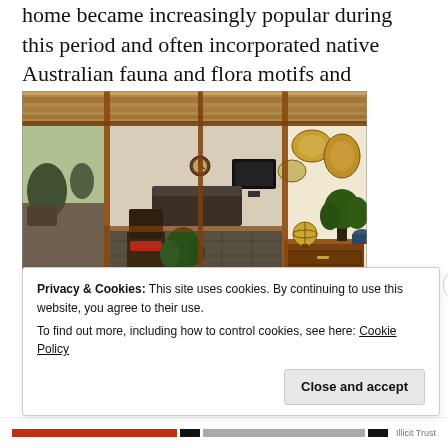home became increasingly popular during this period and often incorporated native Australian fauna and flora motifs and geometric designs.
[Figure (photo): Interior photo of a home sunroom or enclosed veranda with wooden framed glass walls and doors, stone tile floor, a wooden chair with red cushion, indoor plants, a wooden dresser with decorative items including a globe, plants and decorative plates on the right wall, clock on far wall, and TV visible in the background interior.]
Privacy & Cookies: This site uses cookies. By continuing to use this website, you agree to their use.
To find out more, including how to control cookies, see here: Cookie Policy
Close and accept